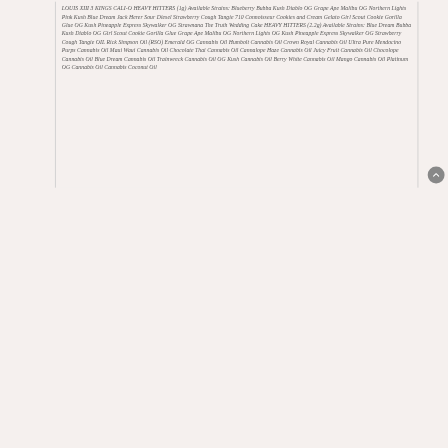LOUIS XIII 3 KINGS CALI-O HEAVY HITTERS (1g) Available Strains: Blueberry Bubba Kush Diablo OG Grape Ape Malibu OG Northern Lights Pink Kush Blue Dream Jack Herer Sour Diesel Strawberry Cough Tangie 710 Connoisseur Cookies and Cream Gelato Girl Scout Cookie Gorilla Glue OG Kush Pineapple Express Skywalker OG Strawnana The Truth Wedding Cake HEAVY HITTERS (2.2g) Available Strains: Blue Dream Bubba Kush Diablo OG Girl Scout Cookie Gorilla Glue Grape Ape Malibu OG Northern Lights OG Kush Pineapple Express Skywalker OG Strawberry Cough Tangie OIL Rick Simpson Oil (RSO) Emerald OG Cannabis Oil Humbolt Cannabis Oil Crown Royal Cannabis Oil Ultra Pure Mendocino Purps Cannabis Oil Maui Waui Cannabis Oil Chocolate Thai Cannabis Oil Cannalope Haze Cannabis Oil Juicy Fruit Cannabis Oil Chocolope Cannabis Oil Blue Dream Cannabis Oil Trainwreck Cannabis Oil OG Kush Cannabis Oil Berry White Cannabis Oil Mango Cannabis Oil Platinum OG Cannabis Oil Cannabis Coconut Oil